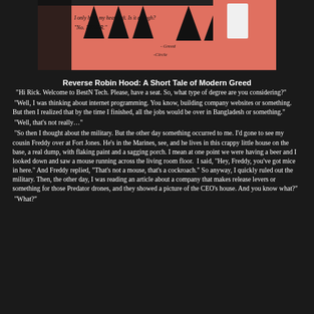[Figure (illustration): A hand-drawn illustration with a salmon/pink background showing dark figures and handwritten text reading: 'I only have my heart left. Is it enough?' / 'No. NEVER.' - Greed / -Circle (with signature)]
Reverse Robin Hood: A Short Tale of Modern Greed
“Hi Rick. Welcome to BestN Tech. Please, have a seat. So, what type of degree are you considering?”
“Well, I was thinking about internet programming. You know, building company websites or something. But then I realized that by the time I finished, all the jobs would be over in Bangladesh or something.”
“Well, that’s not really…”
“So then I thought about the military. But the other day something occurred to me. I’d gone to see my cousin Freddy over at Fort Jones. He’s in the Marines, see, and he lives in this crappy little house on the base, a real dump, with flaking paint and a sagging porch. I mean at one point we were having a beer and I looked down and saw a mouse running across the living room floor.  I said, “Hey, Freddy, you’ve got mice in here.” And Freddy replied, “That’s not a mouse, that’s a cockroach.” So anyway, I quickly ruled out the military. Then, the other day, I was reading an article about a company that makes release levers or something for those Predator drones, and they showed a picture of the CEO’s house. And you know what?”
“What?”